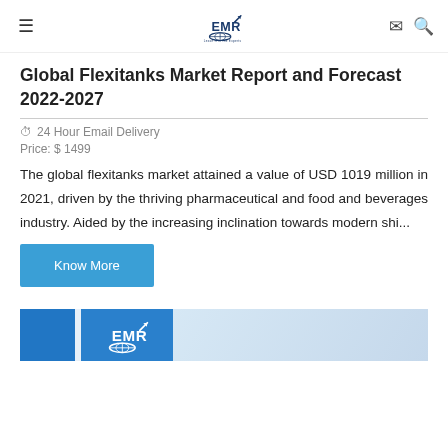EMR — Leave it to the Experts (logo)
Global Flexitanks Market Report and Forecast 2022-2027
24 Hour Email Delivery
Price: $ 1499
The global flexitanks market attained a value of USD 1019 million in 2021, driven by the thriving pharmaceutical and food and beverages industry. Aided by the increasing inclination towards modern shi...
Know More
[Figure (logo): EMR logo banner at the bottom of the page]